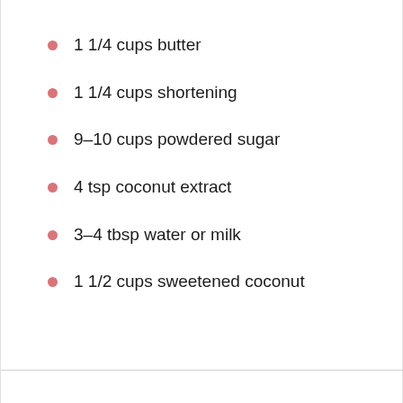1 1/4 cups butter
1 1/4 cups shortening
9–10 cups powdered sugar
4 tsp coconut extract
3–4 tbsp water or milk
1 1/2 cups sweetened coconut